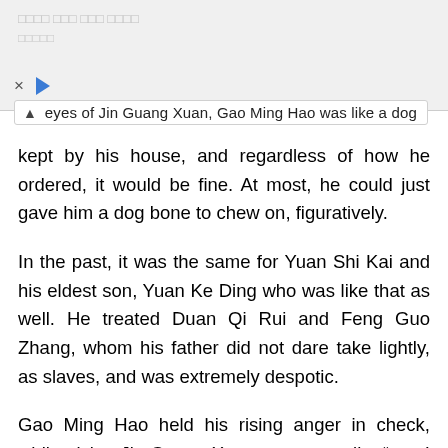× ▷
eyes of Jin Guang Xuan, Gao Ming Hao was like a dog kept by his house, and regardless of how he ordered, it would be fine. At most, he could just gave him a dog bone to chew on, figuratively.
In the past, it was the same for Yuan Shi Kai and his eldest son, Yuan Ke Ding who was like that as well. He treated Duan Qi Rui and Feng Guo Zhang, whom his father did not dare take lightly, as slaves, and was extremely despotic.
Gao Ming Hao held his rising anger in check, while giving Jin Guang Xuan a warm smile: “sure! I got it, Young Master Jin. Next time, I’ll definitely take note.”
Right at this time, snowflakes started floating down from the skies.
Seeing the snow falling, one of the men in military uniform